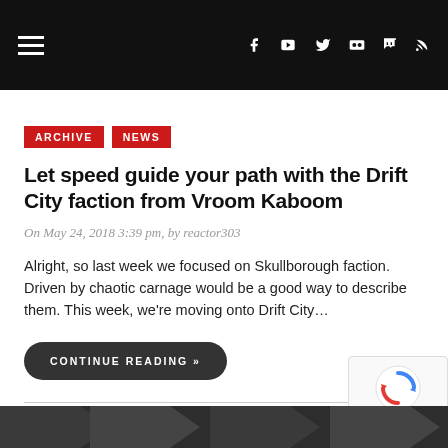Navigation header with hamburger menu and social icons (Facebook, YouTube, Twitter, Flickr, Twitch, RSS)
ARCHIVE
NEWS
Let speed guide your path with the Drift City faction from Vroom Kaboom
On May 24, 2018 3:39 pm, by reactor303
Alright, so last week we focused on Skullborough faction. Driven by chaotic carnage would be a good way to describe them. This week, we're moving onto Drift City…
CONTINUE READING »
[Figure (logo): reCAPTCHA widget with spinning arrows logo and Privacy - Terms text]
[Figure (other): Dark banner at bottom with chevron/arrow shapes]